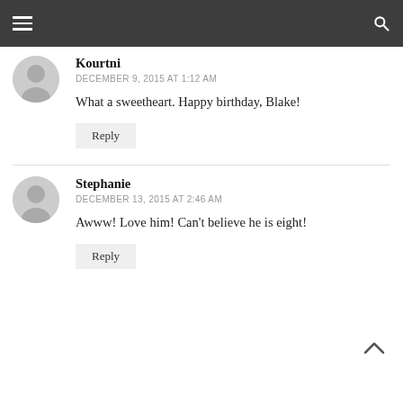[Figure (screenshot): Dark top navigation bar with hamburger menu icon on left and search icon on right]
[Figure (photo): Gray default user avatar silhouette for commenter Kourtni]
Kourtni
DECEMBER 9, 2015 AT 1:12 AM
What a sweetheart. Happy birthday, Blake!
Reply
[Figure (photo): Gray default user avatar silhouette for commenter Stephanie]
Stephanie
DECEMBER 13, 2015 AT 2:46 AM
Awww! Love him! Can't believe he is eight!
Reply